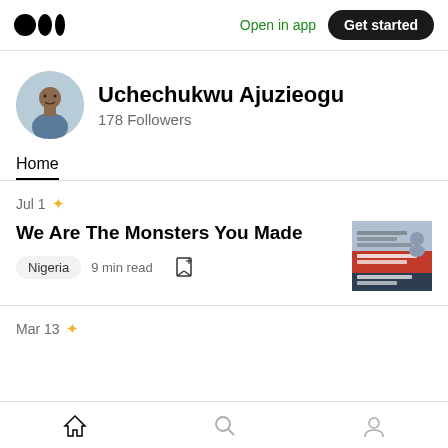Medium logo | Open in app | Get started
Uchechukwu Ajuzieogu
178 Followers
Home
Jul 1 ✦
We Are The Monsters You Made
Nigeria  9 min read
Mar 13 ✦
Home | Search | Profile